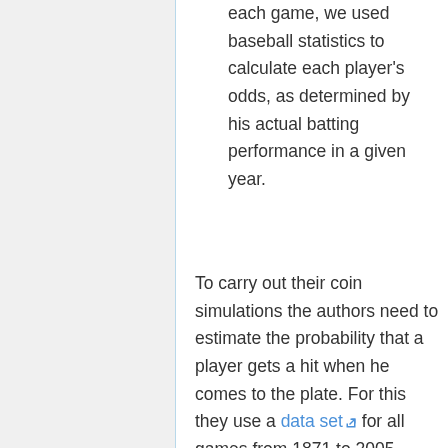each game, we used baseball statistics to calculate each player's odds, as determined by his actual batting performance in a given year.
To carry out their coin simulations the authors need to estimate the probability that a player gets a hit when he comes to the plate. For this they use a data set for all games from 1871 to 2005. From this data they find, for each